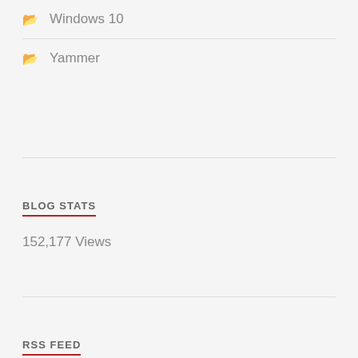Windows 10
Yammer
BLOG STATS
152,177 Views
RSS FEED